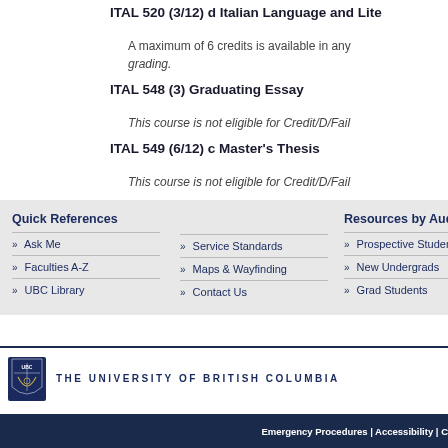ITAL 520 (3/12) d Italian Language and Literature
A maximum of 6 credits is available in any one course. The notation on the transcript will indicate Credit/D/Fail grading.
ITAL 548 (3) Graduating Essay
This course is not eligible for Credit/D/Fail grading.
ITAL 549 (6/12) c Master's Thesis
This course is not eligible for Credit/D/Fail grading.
Ask Me
Service Standards
Prospective Students
Faculties A-Z
Maps & Wayfinding
New Undergrads
UBC Library
Contact Us
Grad Students
[Figure (logo): UBC shield logo with wordmark THE UNIVERSITY OF BRITISH COLUMBIA]
Emergency Procedures | Accessibility | C